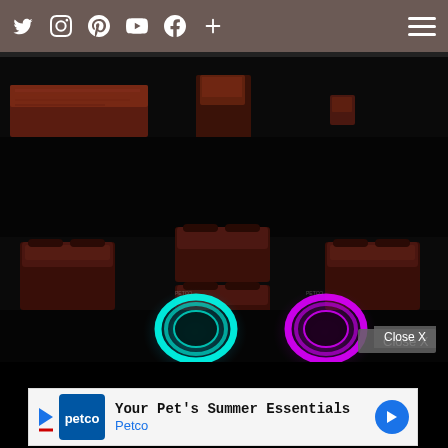Social media icons: Twitter, Instagram, Pinterest, YouTube, Facebook, Plus. Hamburger menu icon.
[Figure (photo): Dark theater interior with deep red/brown seats arranged in rows. Two glowing orbs visible at bottom center — one cyan/teal and one purple/magenta. A 'Close X' button overlays the lower right.]
Close X
[Figure (infographic): Petco advertisement banner: 'Your Pet's Summer Essentials' with Petco logo and blue directional arrow.]